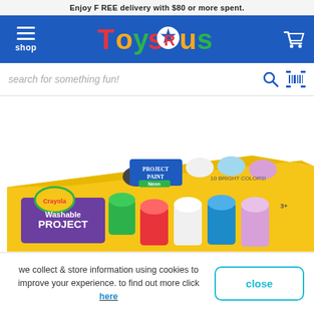Enjoy FREE delivery with $80 or more spent.
[Figure (logo): Toys R Us logo with colorful letters and star-shaped R on blue navigation bar]
search for something fun!
[Figure (photo): Crayola Washable Project Paint set in yellow box with multiple colorful paint jars]
we collect & store information using cookies to improve your experience. to find out more click here